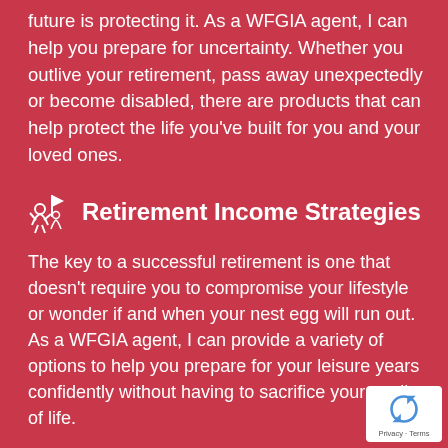future is protecting it. As a WFGIA agent, I can help you prepare for uncertainty. Whether you outlive your retirement, pass away unexpectedly or become disabled, there are products that can help protect the life you've built for you and your loved ones.
Retirement Income Strategies
The key to a successful retirement is one that doesn't require you to compromise your lifestyle or wonder if and when your nest egg will run out. As a WFGIA agent, I can provide a variety of options to help you prepare for your leisure years confidently without having to sacrifice your quality of life.